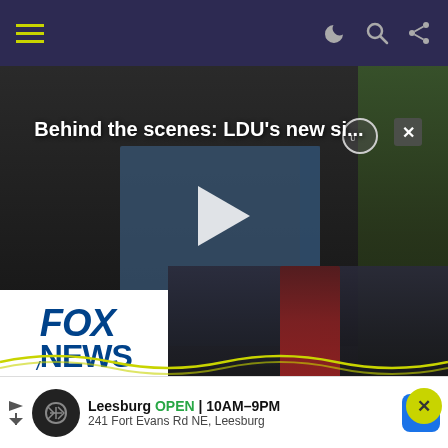Navigation bar with hamburger menu and icons
[Figure (screenshot): Video thumbnail showing a soccer player in a photo shoot behind the scenes, with title 'Behind the scenes: LDU's new si...' overlaid. A Fox News channel logo is in the bottom left. Play button in center.]
Charles Stanley Confirms The Rumors Live Today
[Figure (photo): Partial photo visible below headline, cut off at bottom of page]
Leesburg OPEN 10AM–9PM 241 Fort Evans Rd NE, Leesburg